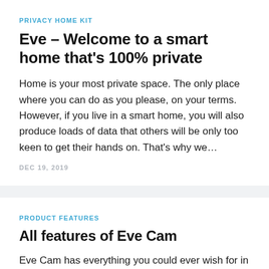PRIVACY HOME KIT
Eve – Welcome to a smart home that's 100% private
Home is your most private space. The only place where you can do as you please, on your terms. However, if you live in a smart home, you will also produce loads of data that others will be only too keen to get their hands on. That's why we…
DEC 19, 2019
PRODUCT FEATURES
All features of Eve Cam
Eve Cam has everything you could ever wish for in a premium indoor security camera: Full HD video with a wide-angle 150° field of view, infrared motion sensor, 16 ft / 5 meters of night vision, two-way…